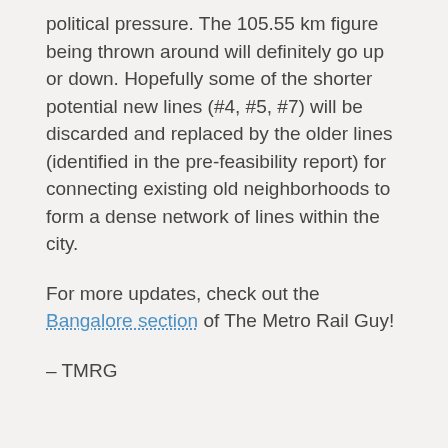political pressure. The 105.55 km figure being thrown around will definitely go up or down. Hopefully some of the shorter potential new lines (#4, #5, #7) will be discarded and replaced by the older lines (identified in the pre-feasibility report) for connecting existing old neighborhoods to form a dense network of lines within the city.
For more updates, check out the Bangalore section of The Metro Rail Guy!
– TMRG